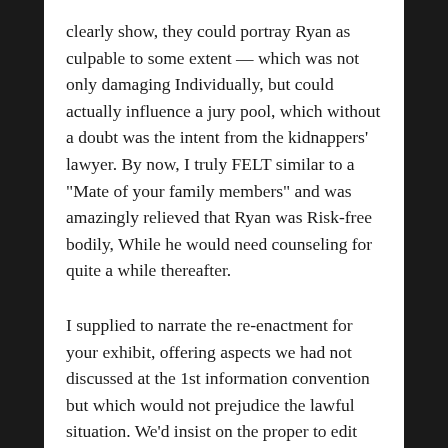clearly show, they could portray Ryan as culpable to some extent — which was not only damaging Individually, but could actually influence a jury pool, which without a doubt was the intent from the kidnappers' lawyer. By now, I truly FELT similar to a “Mate of your family members” and was amazingly relieved that Ryan was Risk-free bodily, While he would need counseling for quite a while thereafter.
I supplied to narrate the re-enactment for your exhibit, offering aspects we had not discussed at the 1st information convention but which would not prejudice the lawful situation. We’d insist on the proper to edit regardless of what portion of my interview was picked out to be used, although there remained a big danger that other areas of